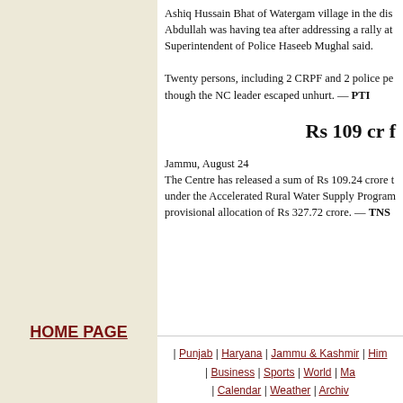Ashiq Hussain Bhat of Watergam village in the district. Abdullah was having tea after addressing a rally at... Superintendent of Police Haseeb Mughal said.
Twenty persons, including 2 CRPF and 2 police pe... though the NC leader escaped unhurt. — PTI
Rs 109 cr f
Jammu, August 24
The Centre has released a sum of Rs 109.24 crore t... under the Accelerated Rural Water Supply Program... provisional allocation of Rs 327.72 crore. — TNS
HOME PAGE | Punjab | Haryana | Jammu & Kashmir | Him... | Business | Sports | World | Ma... | Calendar | Weather | Archiv...